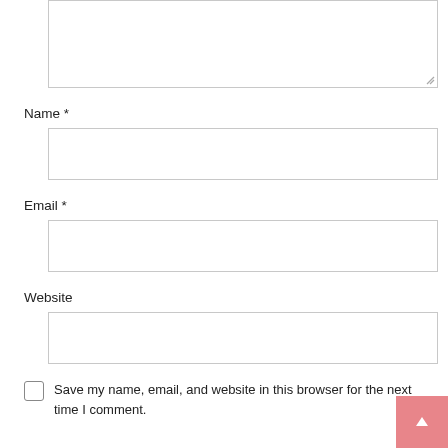[Figure (screenshot): Comment form textarea input box at top, partially visible, with resize handle at bottom-right corner]
Name *
[Figure (screenshot): Name input text field, empty, with border]
Email *
[Figure (screenshot): Email input text field, empty, with border]
Website
[Figure (screenshot): Website input text field, empty, with border]
Save my name, email, and website in this browser for the next time I comment.